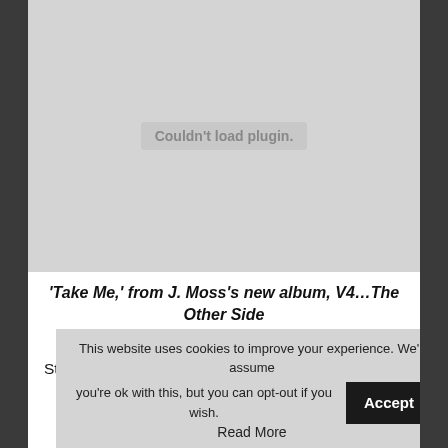[Figure (other): Gray placeholder area with 'Couldn't load plugin.' message, representing a failed media plugin embed]
'Take Me,' from J. Moss's new album, V4…The Other Side
Still, I find myself drawn to J Moss's high energy
This website uses cookies to improve your experience. We'll assume you're ok with this, but you can opt-out if you wish.
Read More